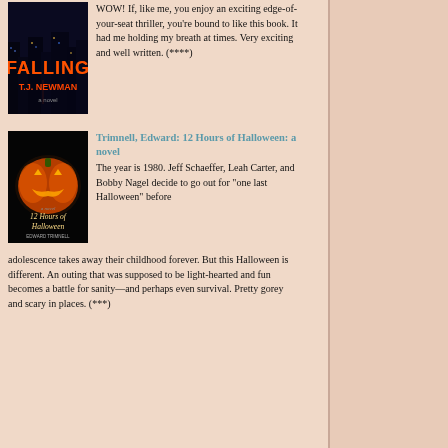[Figure (photo): Book cover of 'Falling' by T.J. Newman — dark city skyline at night with the word FALLING in orange fire-style letters]
WOW! If, like me, you enjoy an exciting edge-of-your-seat thriller, you're bound to like this book. It had me holding my breath at times. Very exciting and well written. ****)
[Figure (photo): Book cover of '12 Hours of Halloween' by Edward Trimnell — glowing jack-o-lantern on dark background]
Trimnell, Edward: 12 Hours of Halloween: a novel
The year is 1980. Jeff Schaeffer, Leah Carter, and Bobby Nagel decide to go out for "one last Halloween" before adolescence takes away their childhood forever. But this Halloween is different. An outing that was supposed to be light-hearted and fun becomes a battle for sanity—and perhaps even survival. Pretty gorey and scary in places. (***)